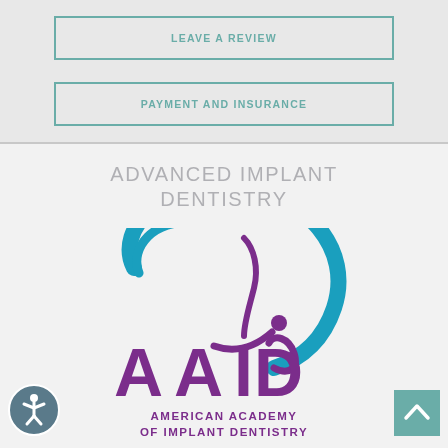LEAVE A REVIEW
PAYMENT AND INSURANCE
ADVANCED IMPLANT DENTISTRY
[Figure (logo): AAID American Academy of Implant Dentistry logo — circular swoosh in teal/blue with stylized figure, letters AAID in purple, text AMERICAN ACADEMY OF IMPLANT DENTISTRY below]